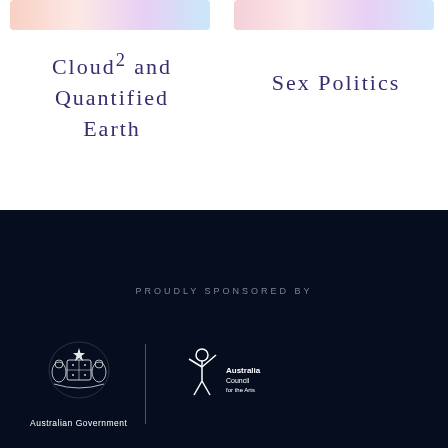[Figure (illustration): Soft pastel gradient banner strip, top left panel]
Cloud² and Quantified Earth
[Figure (illustration): Soft pastel gradient banner strip, top right panel]
Sex Politics
PROUDLY SPONSORED BY
[Figure (logo): Australian Government crest logo with text 'Australian Government', and Australia Council for the Arts logo, side by side with vertical divider]